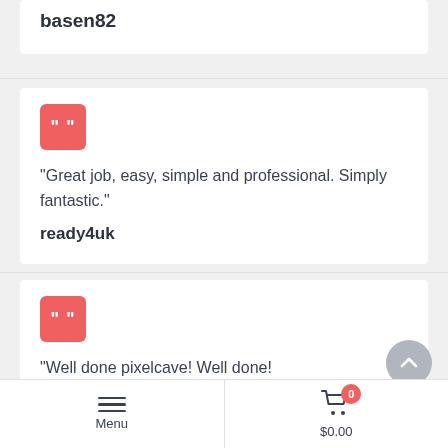basen82
“Great job, easy, simple and professional. Simply fantastic.”
ready4uk
“Well done pixelcave! Well done!

This template is insanely refreshing.. the work you put into it by even adding in a php version is a testament to your skill and you passion.”
JMSOLO
Menu   $0.00